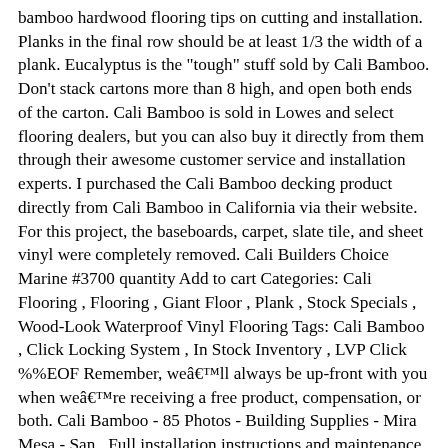bamboo hardwood flooring tips on cutting and installation. Planks in the final row should be at least 1/3 the width of a plank. Eucalyptus is the "tough" stuff sold by Cali Bamboo. Don't stack cartons more than 8 high, and open both ends of the carton. Cali Bamboo is sold in Lowes and select flooring dealers, but you can also buy it directly from them through their awesome customer service and installation experts. I purchased the Cali Bamboo decking product directly from Cali Bamboo in California via their website. For this project, the baseboards, carpet, slate tile, and sheet vinyl were completely removed. Cali Builders Choice Marine #3700 quantity Add to cart Categories: Cali Flooring , Flooring , Giant Floor , Plank , Stock Specials , Wood-Look Waterproof Vinyl Flooring Tags: Cali Bamboo , Click Locking System , In Stock Inventory , LVP Click %%EOF Remember, weâll always be up-front with you when weâre receiving a free product, compensation, or both. Cali Bamboo - 85 Photos - Building Supplies - Mira Mesa - San . Full installation instructions and maintenance guidelines can also be found online at. I had just about placed order for Cali Bamboo Vinyl in White Aspen when I found Flooret website and Modin Vinyl. Often, Dave would be able to reuse the remaining piece (if it was at least 8") to start the next course. Thanks for visiting! Cali Bamboo's mission is to provide sustainable materials for high quality building products. Over the last eight years we've documented hundreds of home improvement and DIY craft projects along with many tool and material reviews. Cali Bamboo Flooring Options. Hi, we're Ethan